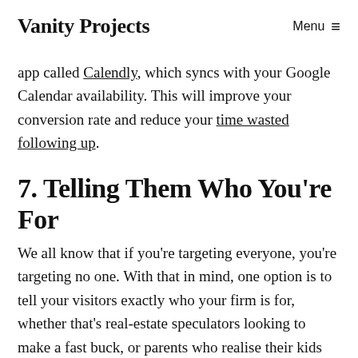Vanity Projects    Menu ≡
app called Calendly, which syncs with your Google Calendar availability. This will improve your conversion rate and reduce your time wasted following up.
7. Telling Them Who You're For
We all know that if you're targeting everyone, you're targeting no one. With that in mind, one option is to tell your visitors exactly who your firm is for, whether that's real-estate speculators looking to make a fast buck, or parents who realise their kids won't move out